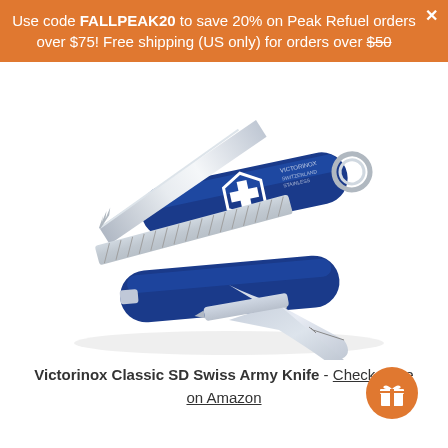Use code FALLPEAK20 to save 20% on Peak Refuel orders over $75! Free shipping (US only) for orders over $50
[Figure (photo): Blue Victorinox Classic SD Swiss Army Knife open, showing blade, nail file, scissors, and keyring, on white background]
Victorinox Classic SD Swiss Army Knife - Check Price on Amazon